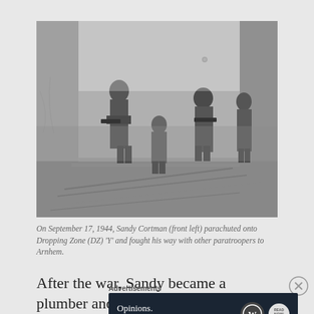[Figure (photo): Black and white WWII photograph showing four soldiers with weapons moving through a damaged building with debris on the floor. Sandy Cortman is identified as front left.]
On September 17, 1944, Sandy Cortman (front left) parachuted onto Dropping Zone (DZ) 'Y' and fought his way with other paratroopers to Arnhem.
After the war, Sandy became a plumber and
[Figure (other): Advertisement banner with dark navy background reading 'Opinions. We all have them!' with WordPress logo and another circular logo.]